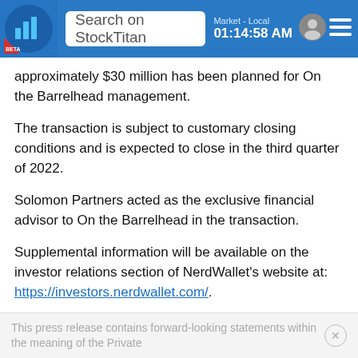Search on StockTitan | Market - Local 01:14:58 AM
approximately $30 million has been planned for On the Barrelhead management.
The transaction is subject to customary closing conditions and is expected to close in the third quarter of 2022.
Solomon Partners acted as the exclusive financial advisor to On the Barrelhead in the transaction.
Supplemental information will be available on the investor relations section of NerdWallet's website at: https://investors.nerdwallet.com/.
Cautionary Note Regarding Forward-Looking Statements
This press release contains forward-looking statements within the meaning of the Private